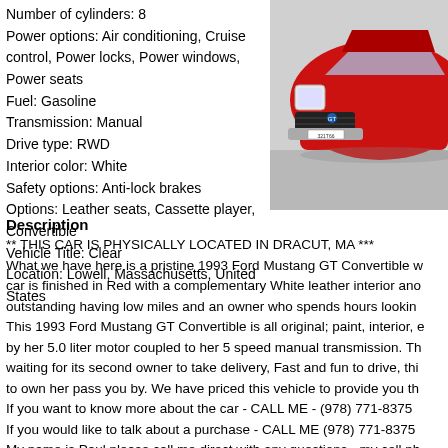Number of cylinders: 8
Power options: Air conditioning, Cruise control, Power locks, Power windows, Power seats
Fuel: Gasoline
Transmission: Manual
Drive type: RWD
Interior color: White
Safety options: Anti-lock brakes
Options: Leather seats, Cassette player, Convertible
Vehicle Title: Clear
Location: Lowell, Massachusetts, United States
[Figure (photo): Red Ford Mustang GT Convertible front/side view, license plate visible]
Description
** THIS CAR IS PHYSICALLY LOCATED IN DRACUT, MA ***
What we have here is a pristine 1993 Ford Mustang GT Convertible w... car is finished in Red with a complementary White leather interior and outstanding having low miles and an owner who spends hours looking... This 1993 Ford Mustang GT Convertible is all original; paint, interior, ... by her 5.0 liter motor coupled to her 5 speed manual transmission. Th... waiting for its second owner to take delivery, Fast and fun to drive, thi... to own her pass you by. We have priced this vehicle to provide you th... If you want to know more about the car - CALL ME - (978) 771-8375 If you would like to talk about a purchase - CALL ME (978) 771-8375 My name is Paul please call me direct with any questions - my cell ph... can email me anytime at paul@silverstonemotorcars.com I promise y... Motorcars. We'll gladly pick you up at Boston's Logan airport or delive... *** THIS CAR IS LOCATED IN DRACUT, MA ***